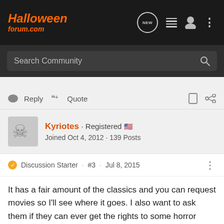HalloweenForum.com
Search Community
Reply  Quote
Kyriotes · Registered
Joined Oct 4, 2012 · 139 Posts
Discussion Starter · #3 · Jul 8, 2015
It has a fair amount of the classics and you can request movies so I'll see where it goes. I also want to ask them if they can ever get the rights to some horror shows. Probably not, but it doesn't hurt to ask.